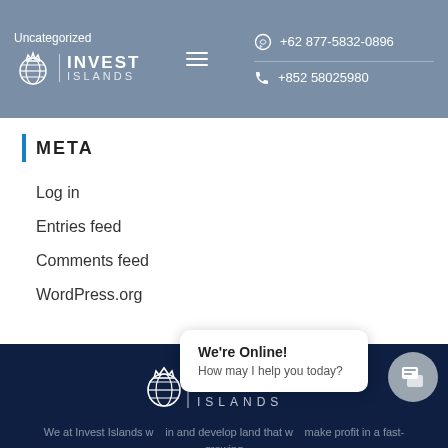Uncategorized | INVEST ISLANDS | Menu | +62 877-5832-0896 | +852 58025980
META
Log in
Entries feed
Comments feed
WordPress.org
[Figure (logo): Invest Islands logo in white on dark navy footer background]
We at Invest Islands w... in and develop land that w... make profit in a fast-growing
We're Online! How may I help you today?